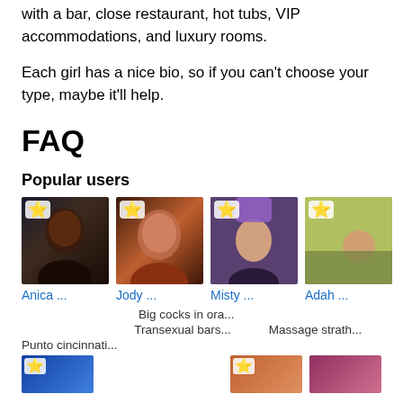with a bar, close restaurant, hot tubs, VIP accommodations, and luxury rooms.
Each girl has a nice bio, so if you can't choose your type, maybe it'll help.
FAQ
Popular users
[Figure (photo): User profile photo for Anica with star badge]
[Figure (photo): User profile photo for Jody with star badge]
[Figure (photo): User profile photo for Misty with star badge]
[Figure (photo): User profile photo for Adah with star badge]
Anica ...
Jody ...
Misty ...
Adah ...
Big cocks in ora...
Transexual bars...
Massage strath...
Punto cincinnati...
[Figure (photo): Bottom thumbnail 1 with star badge]
[Figure (photo): Bottom thumbnail 2 with star badge]
[Figure (photo): Bottom thumbnail 3]